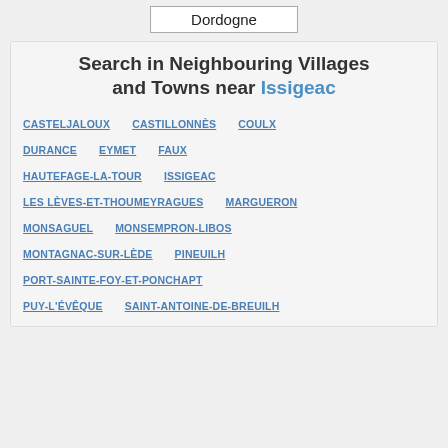Dordogne
Search in Neighbouring Villages and Towns near Issigeac
CASTELJALOUX
CASTILLONNèS
COULX
DURANCE
EYMET
FAUX
HAUTEFAGE-LA-TOUR
ISSIGEAC
LES LèVES-ET-THOUMEYRAGUES
MARGUERON
MONSAGUEL
MONSEMPRON-LIBOS
MONTAGNAC-SUR-LèDE
PINEUILH
PORT-SAINTE-FOY-ET-PONCHAPT
PUY-L'ÉVêQUE
SAINT-ANTOINE-DE-BREUILH